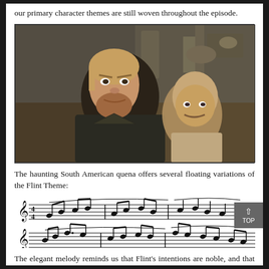our primary character themes are still woven throughout the episode.
[Figure (photo): Two male actors on a ship set — a bearded man in the foreground looking intense, and a bald man with a mustache behind him, with wooden ship rigging visible in the background.]
The haunting South American quena offers several floating variations of the Flint Theme:
[Figure (other): Two lines of musical notation showing variations of the Flint Theme melody.]
The elegant melody reminds us that Flint's intentions are noble, and that he believes the